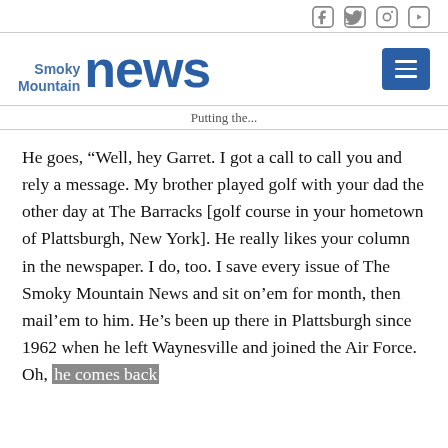Social media icons: Facebook, Twitter, Instagram, YouTube
[Figure (logo): Smoky Mountain News logo with blue text]
Putting the...
He goes, “Well, hey Garret. I got a call to call you and rely a message. My brother played golf with your dad the other day at The Barracks [golf course in your hometown of Plattsburgh, New York]. He really likes your column in the newspaper. I do, too. I save every issue of The Smoky Mountain News and sit on’em for month, then mail’em to him. He’s been up there in Plattsburgh since 1962 when he left Waynesville and joined the Air Force. Oh, he comes back